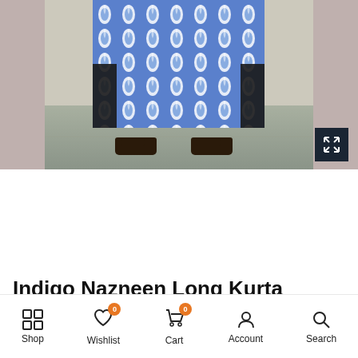[Figure (photo): Product photo showing lower half of a person wearing an indigo blue and white block-print long kurta with black pants, wearing black sandals, standing on a concrete floor against a textured wall.]
Indigo Nazneen Long Kurta
Shop  Wishlist 0  Cart 0  Account  Search